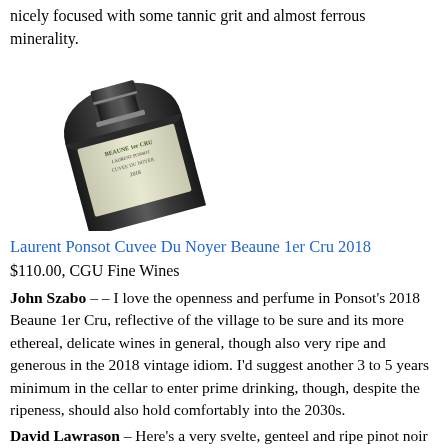nicely focused with some tannic grit and almost ferrous minerality.
[Figure (photo): Photo of a dark wine bottle labeled Laurent Ponsot Cuvee Du Noyer Beaune 1er Cru 2018, lying diagonally]
Laurent Ponsot Cuvee Du Noyer Beaune 1er Cru 2018
$110.00, CGU Fine Wines
John Szabo – – I love the openness and perfume in Ponsot's 2018 Beaune 1er Cru, reflective of the village to be sure and its more ethereal, delicate wines in general, though also very ripe and generous in the 2018 vintage idiom. I'd suggest another 3 to 5 years minimum in the cellar to enter prime drinking, though, despite the ripeness, should also hold comfortably into the 2030s.
David Lawrason – Here's a very svelte, genteel and ripe pinot noir with immediate appeal and that generosity and softness I often find in Beaune – perhaps exaggerated by the warm vintage. I wanted a bit more energy in the end, but this is charming and seductive. The ripe red cherry fruit, pink rose,